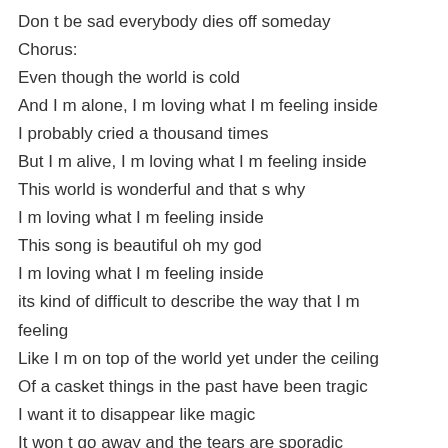Don t be sad everybody dies off someday
Chorus:
Even though the world is cold
And I m alone, I m loving what I m feeling inside
I probably cried a thousand times
But I m alive, I m loving what I m feeling inside
This world is wonderful and that s why
I m loving what I m feeling inside
This song is beautiful oh my god
I m loving what I m feeling inside
its kind of difficult to describe the way that I m feeling
Like I m on top of the world yet under the ceiling
Of a casket things in the past have been tragic
I want it to disappear like magic
It won t go away and the tears are sporadic
And and I'm probably one drink away from becoming an addict